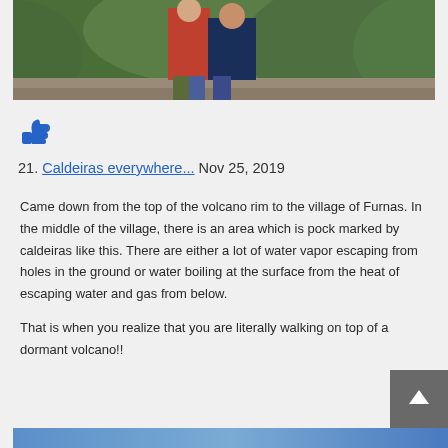[Figure (photo): Two people standing on a stone wall with green forested hills in the background. One person wearing a red/coral jacket, another in a dark blue jacket.]
[Figure (illustration): Blue thumbs up emoji/icon]
21. Caldeiras everywhere... Nov 25, 2019
Came down from the top of the volcano rim to the village of Furnas. In the middle of the village, there is an area which is pock marked by caldeiras like this. There are either a lot of water vapor escaping from holes in the ground or water boiling at the surface from the heat of escaping water and gas from below.

That is when you realize that you are literally walking on top of a dormant volcano!!